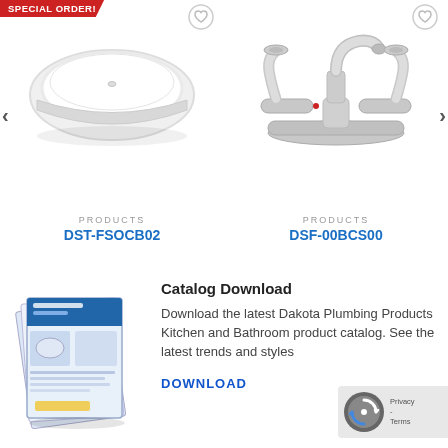[Figure (photo): White freestanding oval bathtub product photo with SPECIAL ORDER badge in top left corner and heart/wishlist icon in top right]
[Figure (photo): Chrome two-handle centerset bathroom faucet product photo with heart/wishlist icon in top right]
PRODUCTS
DST-FSOCB02
PRODUCTS
DSF-00BCS00
[Figure (photo): Dakota Plumbing Products catalog booklet showing kitchen and bathroom products]
Catalog Download
Download the latest Dakota Plumbing Products Kitchen and Bathroom product catalog. See the latest trends and styles
DOWNLOAD